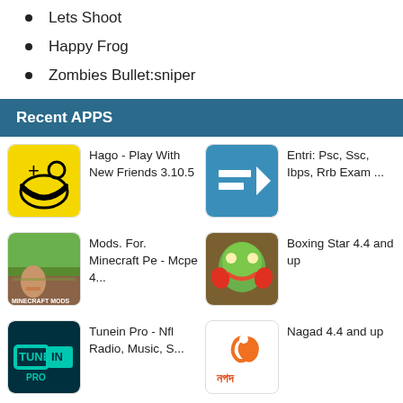Lets Shoot
Happy Frog
Zombies Bullet:sniper
Recent APPS
Hago - Play With New Friends 3.10.5
Entri: Psc, Ssc, Ibps, Rrb Exam ...
Mods. For. Minecraft Pe - Mcpe 4...
Boxing Star 4.4 and up
Tunein Pro - Nfl Radio, Music, S...
Nagad 4.4 and up
Jurassic World
Calligraphy 4.1